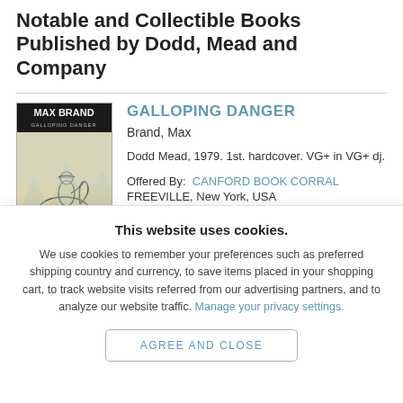Notable and Collectible Books Published by Dodd, Mead and Company
[Figure (illustration): Book cover of 'Galloping Danger' by Max Brand, showing a cowboy on horseback in a sketched style]
GALLOPING DANGER
Brand, Max
Dodd Mead, 1979. 1st. hardcover. VG+ in VG+ dj.
Offered By:  CANFORD BOOK CORRAL
FREEVILLE, New York, USA
This website uses cookies.
We use cookies to remember your preferences such as preferred shipping country and currency, to save items placed in your shopping cart, to track website visits referred from our advertising partners, and to analyze our website traffic. Manage your privacy settings.
AGREE AND CLOSE